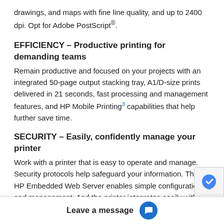drawings, and maps with fine line quality, and up to 2400 dpi. Opt for Adobe PostScript®.
EFFICIENCY – Productive printing for demanding teams
Remain productive and focused on your projects with an integrated 50-page output stacking tray, A1/D-size prints delivered in 21 seconds, fast processing and management features, and HP Mobile Printing3 capabilities that help further save time.
SECURITY – Easily, confidently manage your printer
Work with a printer that is easy to operate and manage. Security protocols help safeguard your information. The HP Embedded Web Server enables simple configuration and management. And the printer integrates easily with your other office devices